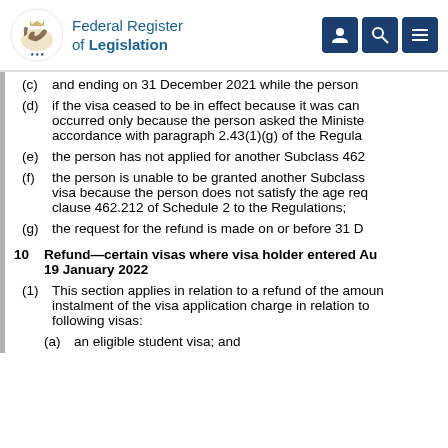Federal Register of Legislation
(c) ... and ending on 31 December 2021 while the person
(d) if the visa ceased to be in effect because it was cancelled and the cancellation occurred only because the person asked the Minister to cancel it in accordance with paragraph 2.43(1)(g) of the Regulations;
(e) the person has not applied for another Subclass 462
(f) the person is unable to be granted another Subclass visa because the person does not satisfy the age requirement in clause 462.212 of Schedule 2 to the Regulations;
(g) the request for the refund is made on or before 31 D
10 Refund—certain visas where visa holder entered Au 19 January 2022
(1) This section applies in relation to a refund of the amount of the second instalment of the visa application charge in relation to the following visas:
(a) an eligible student visa; and